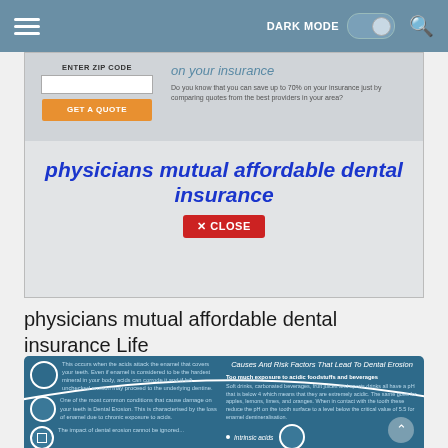[Figure (screenshot): Mobile website screenshot with navigation bar showing hamburger menu, DARK MODE toggle, and search icon on a blue-gray header]
[Figure (screenshot): Advertisement screenshot showing zip code entry form with GET A QUOTE button, text about saving on insurance, and a popup overlay with text 'physicians mutual affordable dental insurance' and a red CLOSE button]
physicians mutual affordable dental insurance Life
[Figure (infographic): Dental erosion infographic on dark blue background showing causes and risk factors that lead to dental erosion, with icons, text about enamel damage, dental erosion conditions, and causes including acidic foods/beverages and intrinsic acids]